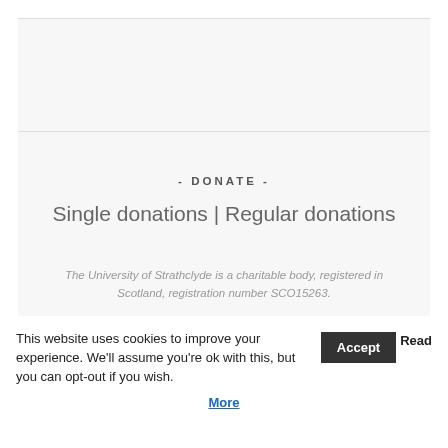- DONATE -
Single donations | Regular donations
The University of Strathclyde is a charitable body, registered in Scotland, registration number SCO15263.
This website uses cookies to improve your experience. We'll assume you're ok with this, but you can opt-out if you wish.
Accept
Read More